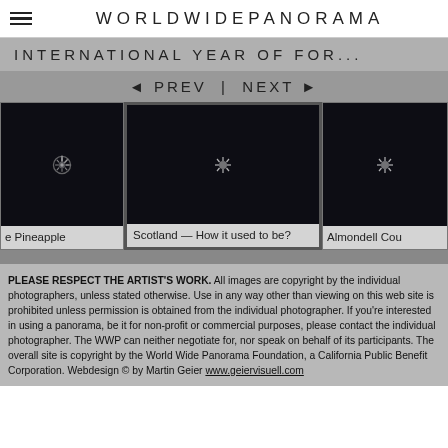WORLDWIDEPANORAMA
INTERNATIONAL YEAR OF FOR...
◄ PREV | NEXT ►
[Figure (photo): Three panorama thumbnails side by side: partially visible left image with caption 'e Pineapple', center image 'Scotland — How it used to be?', partially visible right image with caption 'Almondell Cou'. All images appear as dark/black loading placeholders with spinner icons.]
PLEASE RESPECT THE ARTIST'S WORK. All images are copyright by the individual photographers, unless stated otherwise. Use in any way other than viewing on this web site is prohibited unless permission is obtained from the individual photographer. If you're interested in using a panorama, be it for non-profit or commercial purposes, please contact the individual photographer. The WWP can neither negotiate for, nor speak on behalf of its participants. The overall site is copyright by the World Wide Panorama Foundation, a California Public Benefit Corporation. Webdesign © by Martin Geier www.geiervisuell.com